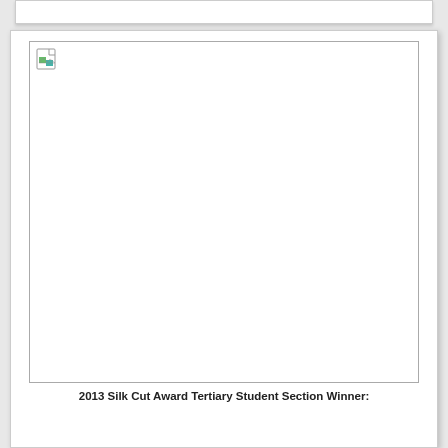[Figure (photo): Broken/missing image placeholder with a broken image icon in the top-left corner, representing an image that failed to load. The image area is white with a border.]
2013 Silk Cut Award Tertiary Student Section Winner: